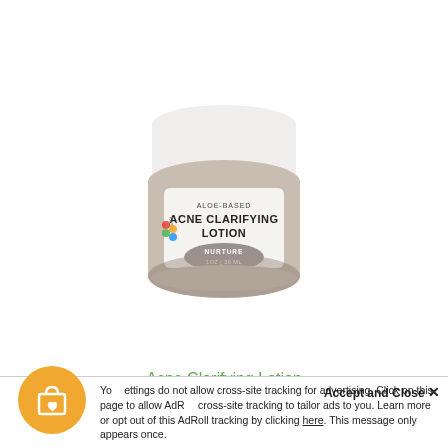[Figure (photo): A small glass jar of Lexi Aloe-Based Acne Clarifying Lotion, Nurture 1oz/30ml, with a white lid, photographed on a white background.]
Acne Clarifying Lotion
Accept and Close ×
Your settings do not allow cross-site tracking for advertising. Click on this page to allow AdRoll cross-site tracking to tailor ads to you. Learn more or opt out of this AdRoll tracking by clicking here. This message only appears once.